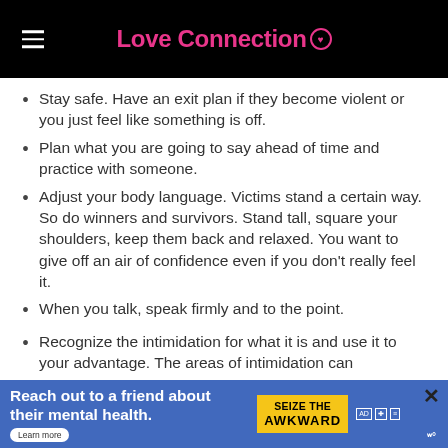Love Connection
Stay safe. Have an exit plan if they become violent or you just feel like something is off.
Plan what you are going to say ahead of time and practice with someone.
Adjust your body language. Victims stand a certain way. So do winners and survivors. Stand tall, square your shoulders, keep them back and relaxed. You want to give off an air of confidence even if you don't really feel it.
When you talk, speak firmly and to the point.
Recognize the intimidation for what it is and use it to your advantage. The areas of intimidation can
[Figure (infographic): Advertisement banner: 'Reach out to a friend about their mental health. Learn more' with Seize the Awkward logo and ad icons]